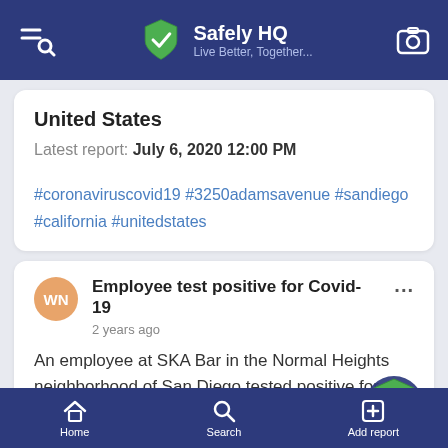Safely HQ — Live Better, Together...
United States
Latest report: July 6, 2020 12:00 PM
#coronaviruscovid19 #3250adamsavenue #sandiego #california #unitedstates
Employee test positive for Covid-19
2 years ago
An employee at SKA Bar in the Normal Heights neighborhood of San Diego tested positive for Co...
Home  Search  Add report